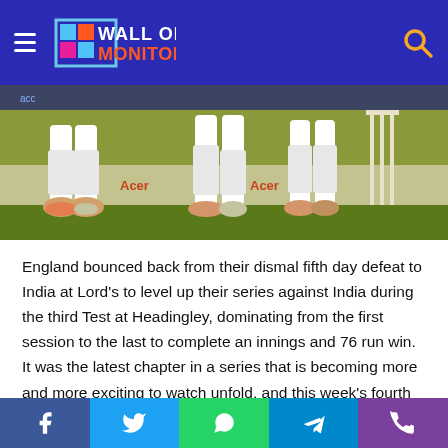Wall of Monitors
[Figure (photo): Cricket players' legs and stumps visible during a Test match, with advertising boards in background]
England bounced back from their dismal fifth day defeat to India at Lord's to level up their series against India during the third Test at Headingley, dominating from the first session to the last to complete an innings and 76 run win. It was the latest chapter in a series that is becoming more and more exciting to watch unfold, and this week's fourth Test should be fascinating to watch unfold.
Facebook | Twitter | WhatsApp | Telegram | Phone